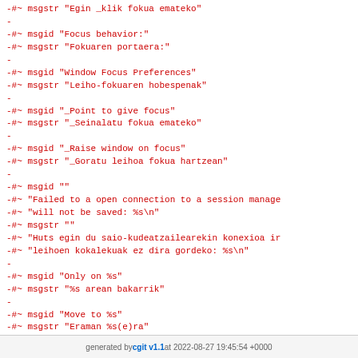-#~ msgstr "Egin _klik fokua emateko"
-
-#~ msgid "Focus behavior:"
-#~ msgstr "Fokuaren portaera:"
-
-#~ msgid "Window Focus Preferences"
-#~ msgstr "Leiho-fokuaren hobespenak"
-
-#~ msgid "_Point to give focus"
-#~ msgstr "_Seinalatu fokua emateko"
-
-#~ msgid "_Raise window on focus"
-#~ msgstr "_Goratu leihoa fokua hartzean"
-
-#~ msgid ""
-#~ "Failed to a open connection to a session manage
-#~ "will not be saved: %s\n"
-#~ msgstr ""
-#~ "Huts egin du saio-kudeatzailearekin konexioa ir
-#~ "leihoen kokalekuak ez dira gordeko: %s\n"
-
-#~ msgid "Only on %s"
-#~ msgstr "%s arean bakarrik"
-
-#~ msgid "Move to %s"
-#~ msgstr "Eraman %s(e)ra"
generated by cgit v1.1 at 2022-08-27 19:45:54 +0000